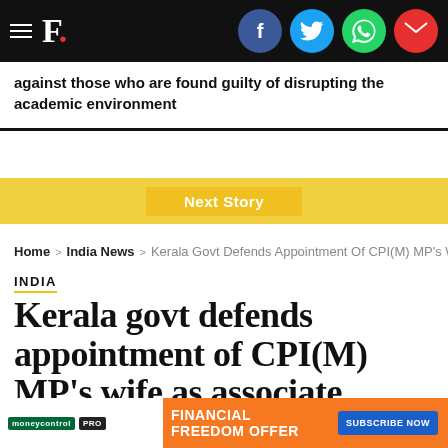F. [navigation bar with hamburger menu and social icons: Facebook, Twitter, WhatsApp, Email]
against those who are found guilty of disrupting the academic environment
[Figure (infographic): Next Story banner in yellow/gold color]
Home > India News > Kerala Govt Defends Appointment Of CPI(M) MP's Wife
INDIA
Kerala govt defends appointment of CPI(M) MP's wife as associate professor at Kannur University
Higher Education...
[Figure (infographic): Moneycontrol PRO FINANCIAL FREEDOM OFFER SUBSCRIBE NOW advertisement banner]